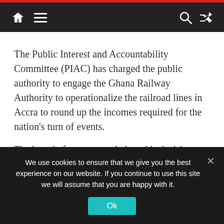Navigation bar with home, menu, search, and shuffle icons
The Public Interest and Accountability Committee (PIAC) has charged the public authority to engage the Ghana Railway Authority to operationalize the railroad lines in Accra to round up the incomes required for the nation’s turn of events.
The board of trustees settled on this decision during its review of certain ventures to some degree subsidized with oil assets in the Greater Accra Region.
We use cookies to ensure that we give you the best experience on our website. If you continue to use this site we will assume that you are happy with it.